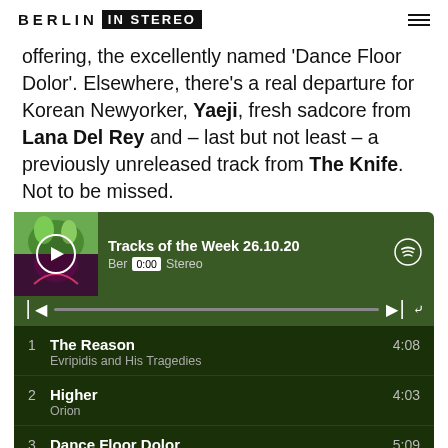BERLIN IN STEREO
offering, the excellently named ‘Dance Floor Dolor’. Elsewhere, there’s a real departure for Korean Newyorker, Yaeji, fresh sadcore from Lana Del Rey and – last but not least – a previously unreleased track from The Knife. Not to be missed.
[Figure (screenshot): Spotify playlist player showing 'Tracks of the Week 26.10.20' by Berlin In Stereo, with tracks: 1. The Reason - Evripidis and His Tragedies (4:08), 2. Higher - Orion (4:03), 3. Dance Floor Dolor - Mareux (5:09)]